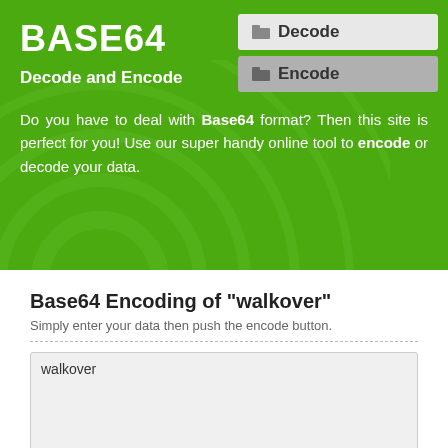BASE64
Decode and Encode
[Figure (screenshot): Navigation buttons: Decode (light background) and Encode (gray background) with folder icons]
Do you have to deal with Base64 format? Then this site is perfect for you! Use our super handy online tool to encode or decode your data.
Base64 Encoding of "walkover"
Simply enter your data then push the encode button.
walkover